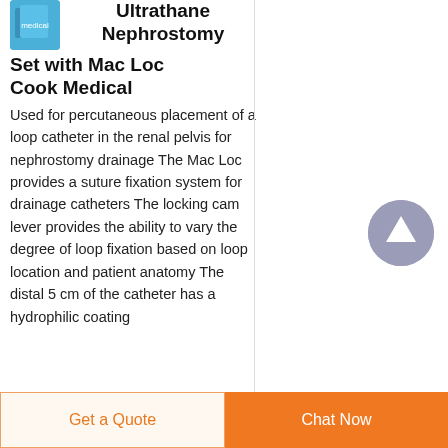Ultrathane Nephrostomy Set with Mac Loc Cook Medical
Used for percutaneous placement of a loop catheter in the renal pelvis for nephrostomy drainage The Mac Loc provides a suture fixation system for drainage catheters The locking cam lever provides the ability to vary the degree of loop fixation based on loop location and patient anatomy The distal 5 cm of the catheter has a hydrophilic coating
[Figure (illustration): Circular button with upward arrow icon for scrolling up]